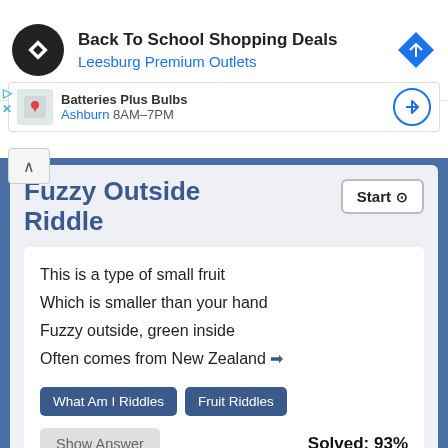[Figure (screenshot): Ad banner: Back To School Shopping Deals at Leesburg Premium Outlets with logo and navigation icon]
[Figure (screenshot): Map result row showing Batteries Plus Bulbs in Ashburn 8AM-7PM with map thumbnail and navigation button]
Fuzzy Outside Riddle
This is a type of small fruit
Which is smaller than your hand
Fuzzy outside, green inside
Often comes from New Zealand →
What Am I Riddles
Fruit Riddles
Solved: 93%
Show Answer